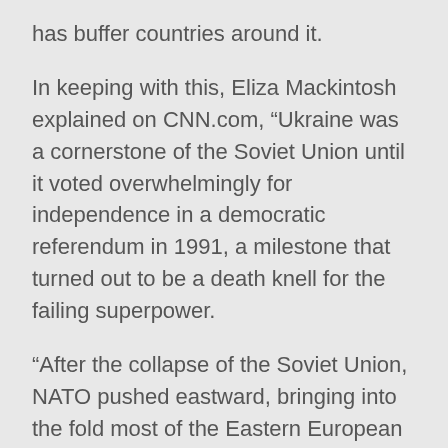has buffer countries around it.
In keeping with this, Eliza Mackintosh explained on CNN.com, “Ukraine was a cornerstone of the Soviet Union until it voted overwhelmingly for independence in a democratic referendum in 1991, a milestone that turned out to be a death knell for the failing superpower.
“After the collapse of the Soviet Union, NATO pushed eastward, bringing into the fold most of the Eastern European nations that had been in the Communist orbit. In 2004, NATO added the former Soviet Baltic republics